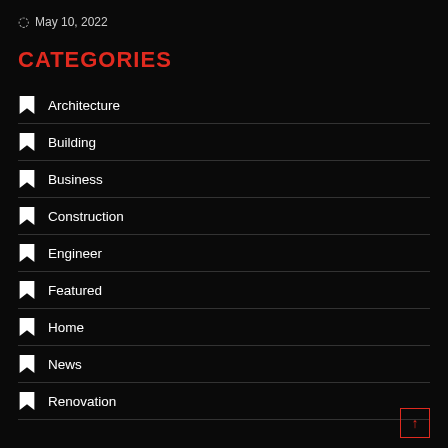May 10, 2022
CATEGORIES
Architecture
Building
Business
Construction
Engineer
Featured
Home
News
Renovation